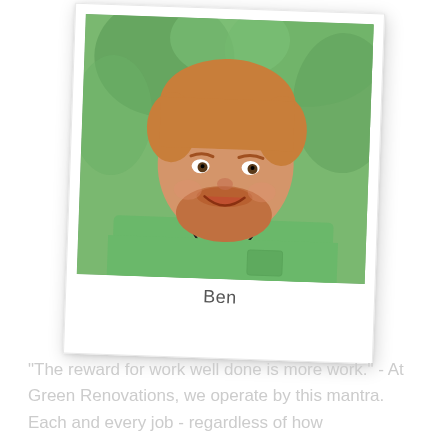[Figure (photo): Polaroid-style photo of a young man named Ben with reddish-brown hair and beard, smiling, wearing a green collared shirt over a black undershirt, with an outdoor green background. The name 'Ben' is written below the photo in the polaroid white space.]
"The reward for work well done is more work." - At Green Renovations, we operate by this mantra. Each and every job - regardless of how